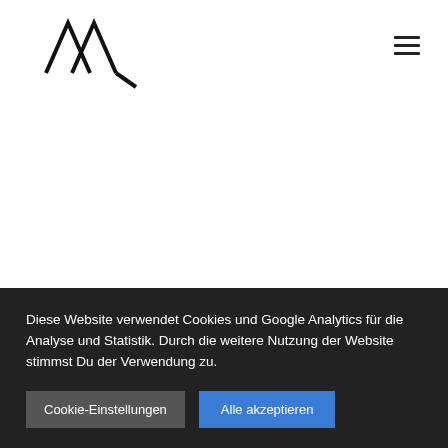[Figure (logo): Abstract geometric logo made of diagonal lines forming zigzag/M shapes, black on white]
[Figure (other): Hamburger menu icon (three horizontal lines) in top right corner]
Diese Website verwendet Cookies und Google Analytics für die Analyse und Statistik. Durch die weitere Nutzung der Website stimmst Du der Verwendung zu.
Cookie-Einstellungen
Alle akzeptieren